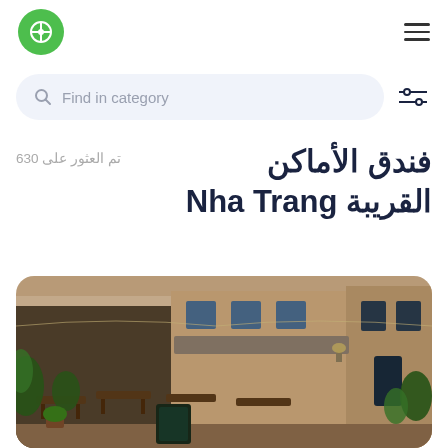[Figure (logo): Green circular logo with white compass/cross icon]
≡ (hamburger menu icon)
Find in category (search bar placeholder)
فندق الأماكن القريبة Nha Trang
تم العثور على 630
[Figure (photo): Street-side restaurant or café terrace with outdoor seating, plants, and storefronts in warm tones]